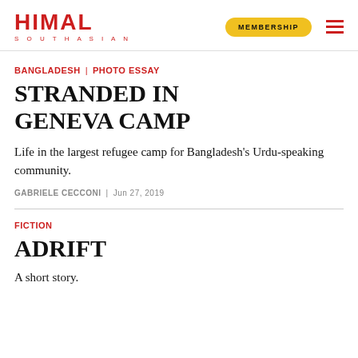HIMAL SOUTHASIAN | MEMBERSHIP
BANGLADESH | PHOTO ESSAY
STRANDED IN GENEVA CAMP
Life in the largest refugee camp for Bangladesh's Urdu-speaking community.
GABRIELE CECCONI | Jun 27, 2019
FICTION
ADRIFT
A short story.